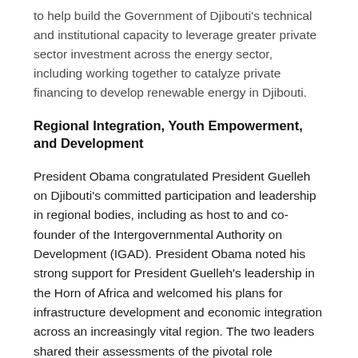to help build the Government of Djibouti's technical and institutional capacity to leverage greater private sector investment across the energy sector, including working together to catalyze private financing to develop renewable energy in Djibouti.
Regional Integration, Youth Empowerment, and Development
President Obama congratulated President Guelleh on Djibouti's committed participation and leadership in regional bodies, including as host to and co-founder of the Intergovernmental Authority on Development (IGAD). President Obama noted his strong support for President Guelleh's leadership in the Horn of Africa and welcomed his plans for infrastructure development and economic integration across an increasingly vital region. The two leaders shared their assessments of the pivotal role economic development and democratic governance can play in Djibouti's future, including in advancing